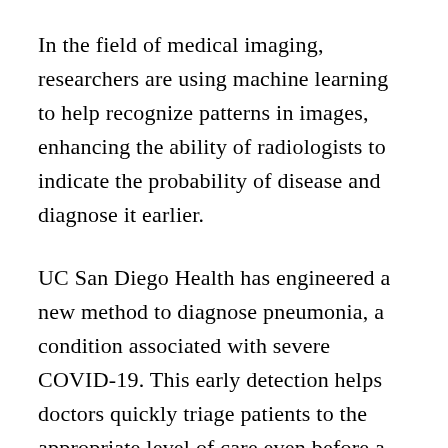In the field of medical imaging, researchers are using machine learning to help recognize patterns in images, enhancing the ability of radiologists to indicate the probability of disease and diagnose it earlier.
UC San Diego Health has engineered a new method to diagnose pneumonia, a condition associated with severe COVID-19. This early detection helps doctors quickly triage patients to the appropriate level of care even before a COVID-19 diagnosis is confirmed.
Speeding up research and treatment